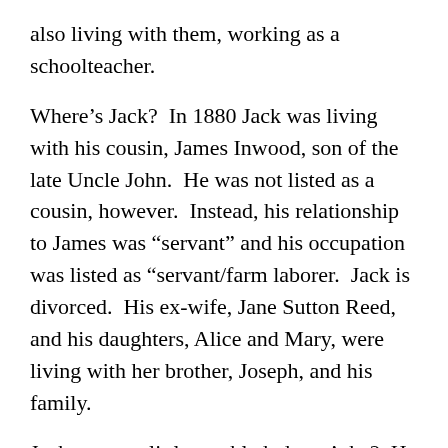also living with them, working as a schoolteacher.
Where’s Jack?  In 1880 Jack was living with his cousin, James Inwood, son of the late Uncle John.  He was not listed as a cousin, however.  Instead, his relationship to James was “servant” and his occupation was listed as “servant/farm laborer.  Jack is divorced.  His ex-wife, Jane Sutton Reed, and his daughters, Alice and Mary, were living with her brother, Joseph, and his family.
Jack seems a little troubled, doesn’t he?  He probably blamed it on the divorce…  I have reason to believe that he didn’t get along well with his half-siblings…
Sarah Inwood Green,  ex-wife /sister-in-law of of John